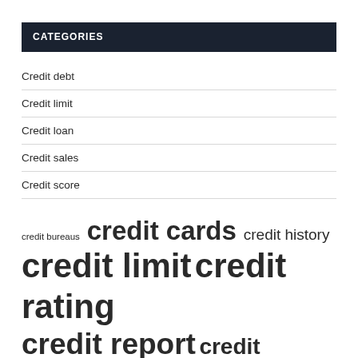CATEGORIES
Credit debt
Credit limit
Credit loan
Credit sales
Credit score
credit bureaus  credit cards  credit history  credit limit  credit rating  credit report  credit scores  credit utilization  good credit  higher credit  increase credit  interest rate